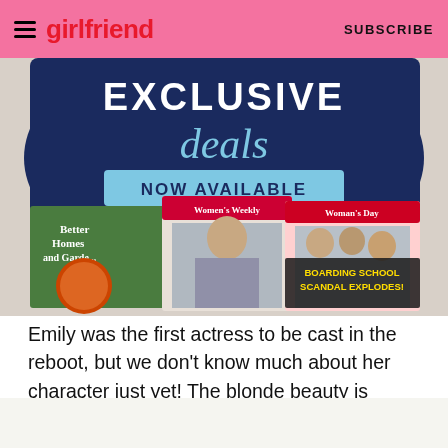girlfriend | SUBSCRIBE
[Figure (photo): Advertisement banner showing exclusive deals now available, featuring magazine covers including Better Homes and Gardens, Women's Weekly, and Woman's Day with a Boarding School Scandal Explodes headline.]
Emily was the first actress to be cast in the reboot, but we don't know much about her character just yet! The blonde beauty is known for playing young Amanda Clarke in the hit TV series Revenge. Most recently, she starred in Code Black as Ariel.